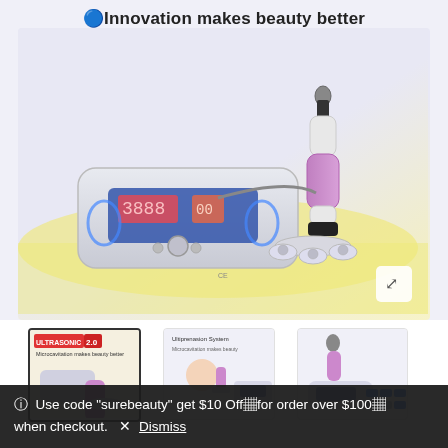[Figure (photo): Product photo of a beauty device (ultrasonic cavitation machine) with a white control unit showing a digital display and buttons, a purple/white/black handheld probe, and small attachments, set on a pale yellow surface against a light purple-grey background. Header text reads: Innovation makes beauty better]
[Figure (photo): Three thumbnail images of the same beauty device from different angles/presentations]
ⓘ Use code "surebeauty" get $10 Off for order over $100 when checkout.  × Dismiss